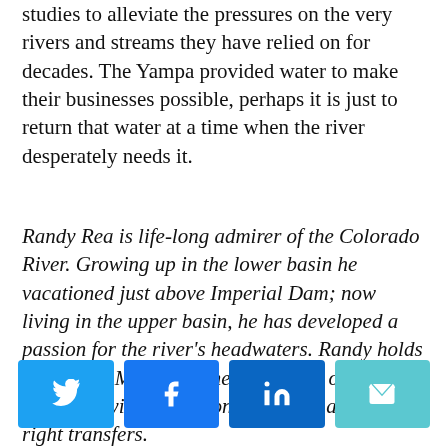studies to alleviate the pressures on the very rivers and streams they have relied on for decades. The Yampa provided water to make their businesses possible, perhaps it is just to return that water at a time when the river desperately needs it.
Randy Rea is life-long admirer of the Colorado River. Growing up in the lower basin he vacationed just above Imperial Dam; now living in the upper basin, he has developed a passion for the river's headwaters. Randy holds a J.D. and M.A. from the University of Wyoming with a focus on water law and water right transfers.
[Figure (infographic): Social share buttons: Twitter (blue), Facebook (dark blue), LinkedIn (dark blue), Email (teal)]